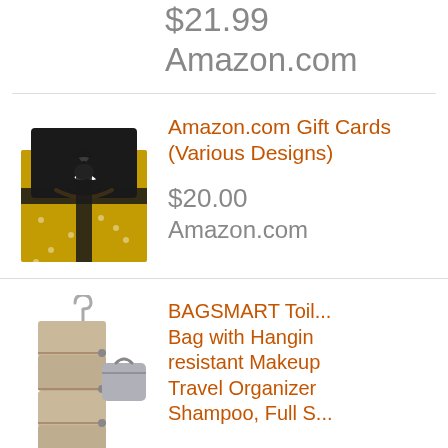$21.99
Amazon.com
[Figure (photo): Amazon.com Gift Card in a black and gold gift box with black ribbon bow]
Amazon.com Gift Cards (Various Designs)
$20.00
Amazon.com
[Figure (photo): BAGSMART toiletry hanging bag in tan/beige color unfolded, with a grey compact bag beside it]
BAGSMART Toiletry Bag with Hanging Hook, water-resistant Makeup Bag Cosmetics Travel Organizer for Shampoo, Full S...